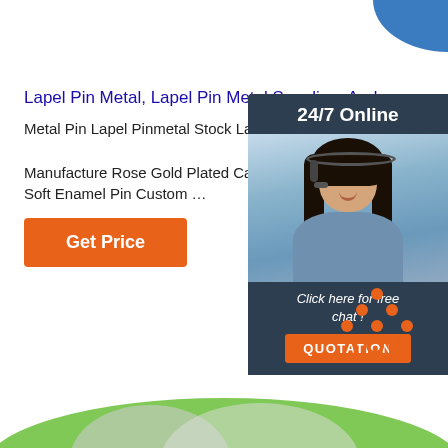[Figure (illustration): Blue decorative blob shape in top right corner]
Lapel Pin Metal, Lapel Pin Metal Suppliers And ...
Metal Pin Lapel Pinmetal Stock Lapel Pins Cheap Manufacture Rose Gold Plated Cartoon Hard Enamel Soft Enamel Pin Custom …
[Figure (infographic): Orange Get Price button]
[Figure (infographic): 24/7 Online chat widget with woman wearing headset, dark blue background, text 'Click here for free chat!' and orange QUOTATION button]
[Figure (illustration): Orange TOP button with dots above arranged in triangle shape]
[Figure (illustration): Green decorative blob at bottom of page with gray shapes]